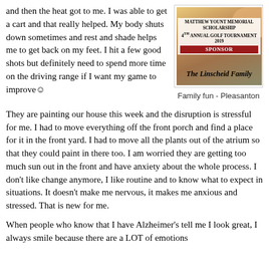and then the heat got to me. I was able to get a cart and that really helped. My body shuts down sometimes and rest and shade helps me to get back on my feet. I hit a few good shots but definitely need to spend more time on the driving range if I want my game to improve☺
[Figure (photo): Photo of a golf tournament sponsor sign reading 'Matthew Yount Memorial Scholarship 4th Annual Golf Tournament 2019 SPONSOR The Linscheid Family' with people visible behind it]
Family fun - Pleasanton
They are painting our house this week and the disruption is stressful for me. I had to move everything off the front porch and find a place for it in the front yard. I had to move all the plants out of the atrium so that they could paint in there too. I am worried they are getting too much sun out in the front and have anxiety about the whole process. I don't like change anymore, I like routine and to know what to expect in situations. It doesn't make me nervous, it makes me anxious and stressed. That is new for me.
When people who know that I have Alzheimer's tell me I look great, I always smile because there are a LOT of emotions